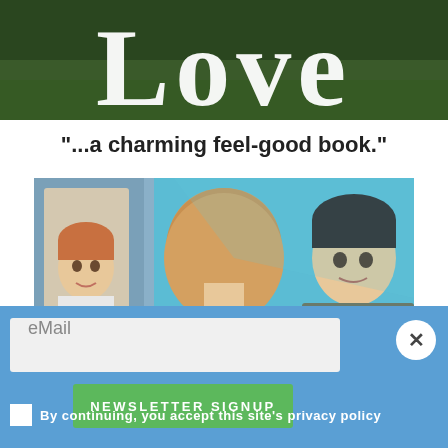[Figure (illustration): Cropped book cover top showing the word 'Love' in large white serif font over a green outdoor background]
"...a charming feel-good book."
[Figure (illustration): Book cover illustration showing three figures: a young man reflected in a mirror on the left, a woman with blonde hair seen from behind in the center wearing a lavender top, and a dark-haired young man on the right]
eMail
NEWSLETTER SIGNUP
By continuing, you accept this site's privacy policy